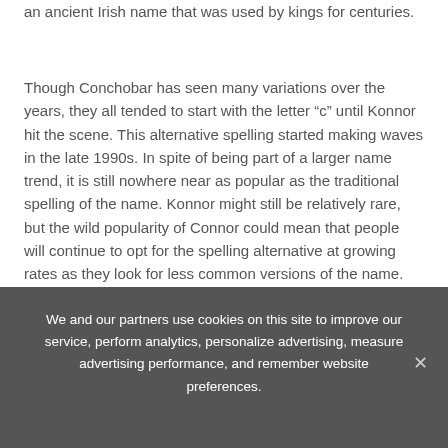an ancient Irish name that was used by kings for centuries.
Though Conchobar has seen many variations over the years, they all tended to start with the letter “c” until Konnor hit the scene. This alternative spelling started making waves in the late 1990s. In spite of being part of a larger name trend, it is still nowhere near as popular as the traditional spelling of the name. Konnor might still be relatively rare, but the wild popularity of Connor could mean that people will continue to opt for the spelling alternative at growing rates as they look for less common versions of the name.
We and our partners use cookies on this site to improve our service, perform analytics, personalize advertising, measure advertising performance, and remember website preferences.